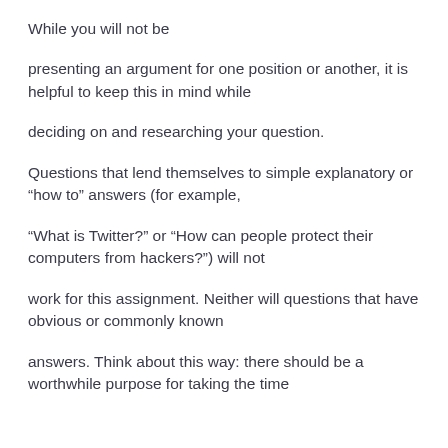While you will not be
presenting an argument for one position or another, it is helpful to keep this in mind while
deciding on and researching your question.
Questions that lend themselves to simple explanatory or “how to” answers (for example,
“What is Twitter?” or “How can people protect their computers from hackers?”) will not
work for this assignment. Neither will questions that have obvious or commonly known
answers. Think about this way: there should be a worthwhile purpose for taking the time